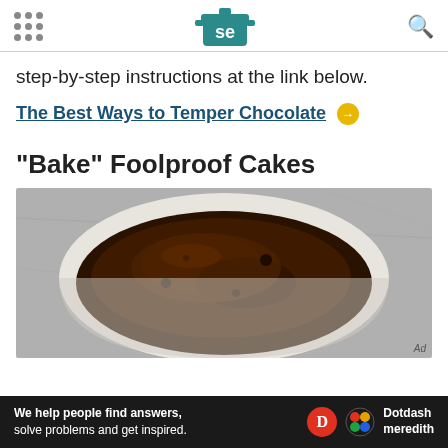Serious Eats header with logo and navigation
step-by-step instructions at the link below.
The Best Ways to Temper Chocolate →
"Bake" Foolproof Cakes
[Figure (photo): Top-down view of a chocolate molten lava cake in a white ramekin on a gray marble surface]
We help people find answers, solve problems and get inspired. Dotdash meredith